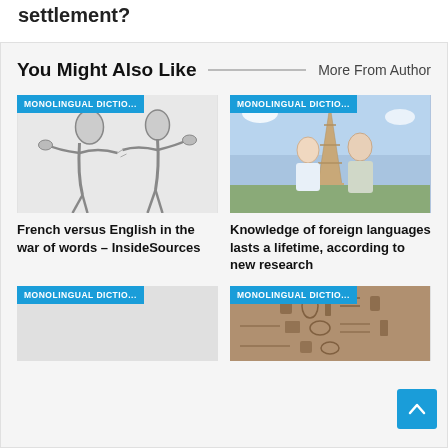settlement?
You Might Also Like
More From Author
[Figure (illustration): Badge labeled MONOLINGUAL DICTIO... over a black and white illustration of two figures arguing or fighting]
French versus English in the war of words – InsideSources
[Figure (photo): Badge labeled MONOLINGUAL DICTIO... over a photo of an older couple in front of the Eiffel Tower]
Knowledge of foreign languages lasts a lifetime, according to new research
[Figure (other): Badge labeled MONOLINGUAL DICTIO... over a light gray placeholder image]
[Figure (photo): Badge labeled MONOLINGUAL DICTIO... over a photo of ancient stone carvings or hieroglyphics]